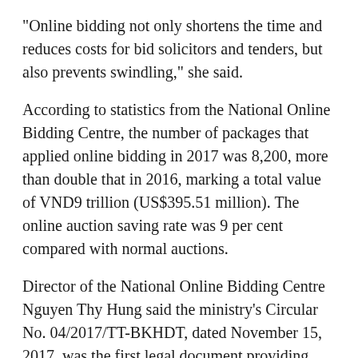"Online bidding not only shortens the time and reduces costs for bid solicitors and tenders, but also prevents swindling," she said.
According to statistics from the National Online Bidding Centre, the number of packages that applied online bidding in 2017 was 8,200, more than double that in 2016, marking a total value of VND9 trillion (US$395.51 million). The online auction saving rate was 9 per cent compared with normal auctions.
Director of the National Online Bidding Centre Nguyen Thy Hung said the ministry's Circular No. 04/2017/TT-BKHDT, dated November 15, 2017, was the first legal document providing updated convenience to create favourable conditions for bidding packages of goods purchase, non-consultancy biddings and small-scale construction projects.